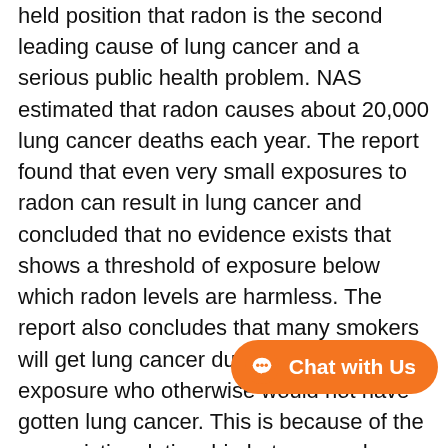held position that radon is the second leading cause of lung cancer and a serious public health problem. NAS estimated that radon causes about 20,000 lung cancer deaths each year. The report found that even very small exposures to radon can result in lung cancer and concluded that no evidence exists that shows a threshold of exposure below which radon levels are harmless. The report also concludes that many smokers will get lung cancer due to their radon exposure who otherwise would not have gotten lung cancer. This is because of the synergistic relationship between radon and cigarette smoking in causing lung cancer.
To update EPA's previous risk estimates, EPA worked closely with the Agency's Science Advisory Board (SAB), an independent panel of scientific experts to determine how best to